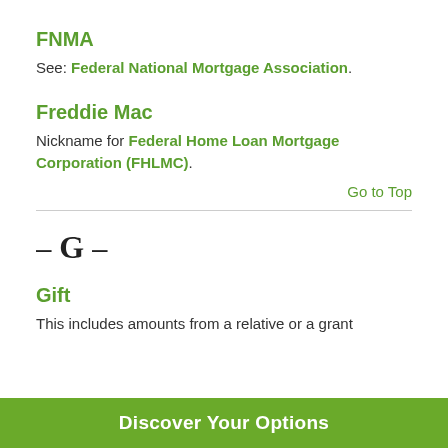FNMA
See: Federal National Mortgage Association.
Freddie Mac
Nickname for Federal Home Loan Mortgage Corporation (FHLMC).
Go to Top
– G –
Gift
This includes amounts from a relative or a grant
Discover Your Options